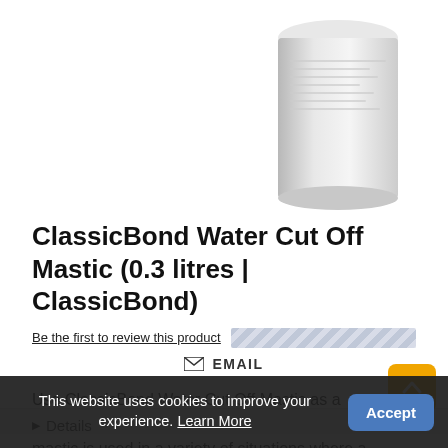[Figure (photo): Partial view of a cylindrical white product container/tube partially visible in the upper right corner of the page]
ClassicBond Water Cut Off Mastic (0.3 litres | ClassicBond)
Be the first to review this product
EMAIL
Use ClassicBond Water Cut Off Mastic as a compression termination, this one part self wetting mastic is used in a variety of situations where a compression termination of the ClassicBond EPDM membrane is required.
Details
Use ClassicBond Water Cut Off Mastic as a compression termination, this one part self wetting mastic is used in a
This website uses cookies to improve your experience. Learn More
Accept